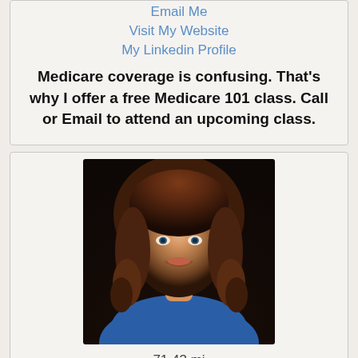Email Me
Visit My Website
My Linkedin Profile
Medicare coverage is confusing. That's why I offer a free Medicare 101 class. Call or Email to attend an upcoming class.
[Figure (photo): Professional headshot of Kim Falbo, a woman with long curly brown hair, wearing a blue top, smiling against a dark background]
71.43 mi
Kim Falbo, LUTCF
RetirePro
Tampa Bay/ Florida/ Many Other States
7277341130 or 8139611130 (Mobile)
Email Me